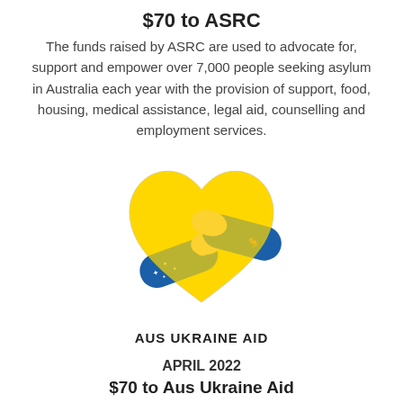$70 to ASRC
The funds raised by ASRC are used to advocate for, support and empower over 7,000 people seeking asylum in Australia each year with the provision of support, food, housing, medical assistance, legal aid, counselling and employment services.
[Figure (logo): Aus Ukraine Aid logo: a yellow heart shape with two arms in blue sleeves hugging it, one arm has a kangaroo motif (Australian), the other has stars (Ukrainian flag element). Text below reads AUS UKRAINE AID.]
APRIL 2022
$70 to Aus Ukraine Aid